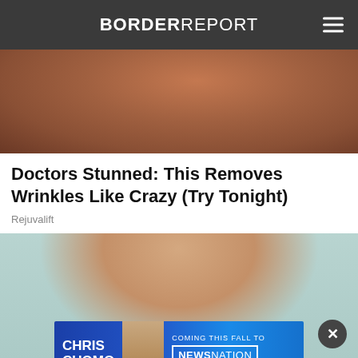BORDER REPORT
[Figure (photo): Close-up photo of an elderly person's neck/chin area showing wrinkled skin with reddish tone]
Doctors Stunned: This Removes Wrinkles Like Crazy (Try Tonight)
Rejuvalift
[Figure (photo): Young woman with long dark hair smiling, holding a credit card, against a teal/mint background. An advertisement banner overlay at the bottom shows Chris Cuomo Coming This Fall to NewsNation.]